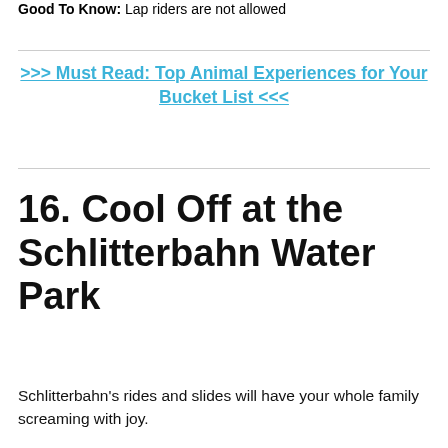Helmets are mandatory and provided
Good To Know: Lap riders are not allowed
>>> Must Read: Top Animal Experiences for Your Bucket List <<<
16. Cool Off at the Schlitterbahn Water Park
Schlitterbahn's rides and slides will have your whole family screaming with joy.